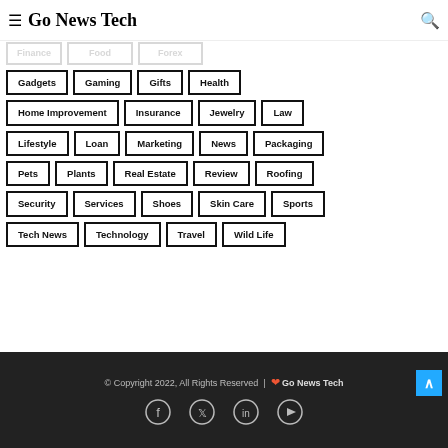Go News Tech
Finance
Food
Forex
Gadgets
Gaming
Gifts
Health
Home Improvement
Insurance
Jewelry
Law
Lifestyle
Loan
Marketing
News
Packaging
Pets
Plants
Real Estate
Review
Roofing
Security
Services
Shoes
Skin Care
Sports
Tech News
Technology
Travel
Wild Life
© Copyright 2022, All Rights Reserved | ❤ Go News Tech